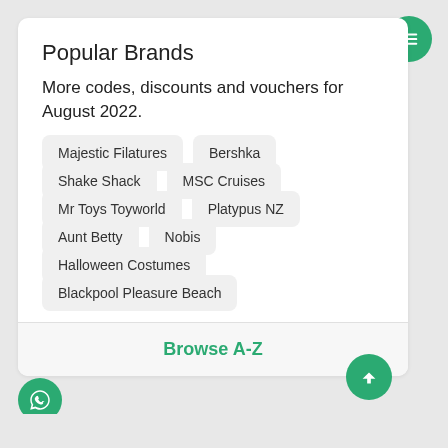Popular Brands
More codes, discounts and vouchers for August 2022.
Majestic Filatures
Bershka
Shake Shack
MSC Cruises
Mr Toys Toyworld
Platypus NZ
Aunt Betty
Nobis
Halloween Costumes
Blackpool Pleasure Beach
Browse A-Z